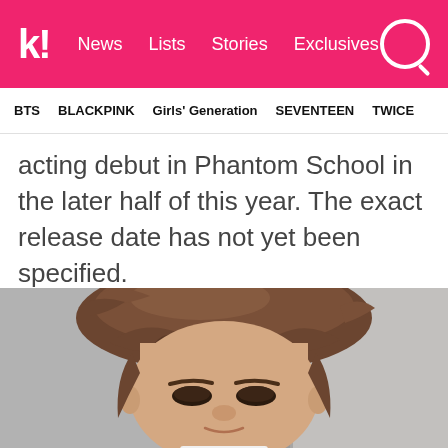k! News Lists Stories Exclusives
BTS BLACKPINK Girls' Generation SEVENTEEN TWICE
acting debut in Phantom School in the later half of this year. The exact release date has not yet been specified.
[Figure (photo): Close-up selfie photo of a young Korean male with brown layered hair covering forehead, taken against a grey background with a door visible.]